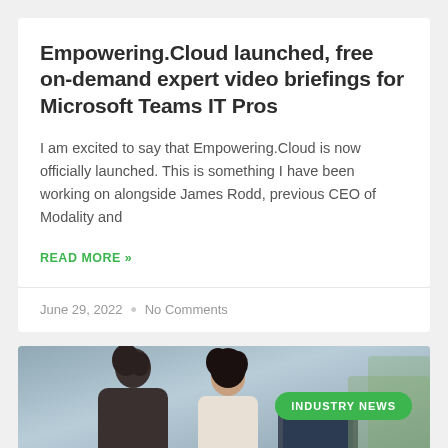Empowering.Cloud launched, free on-demand expert video briefings for Microsoft Teams IT Pros
I am excited to say that Empowering.Cloud is now officially launched. This is something I have been working on alongside James Rodd, previous CEO of Modality and
READ MORE »
June 29, 2022  •  No Comments
[Figure (photo): Two women working together at a computer, office environment, with a green 'INDUSTRY NEWS' badge overlaid on the right side]